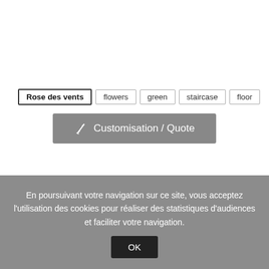Rose des vents
flowers
green
staircase
floor
✂ Customisation / Quote
En poursuivant votre navigation sur ce site, vous acceptez l'utilisation des cookies pour réaliser des statistiques d'audiences et faciliter votre navigation.
OK